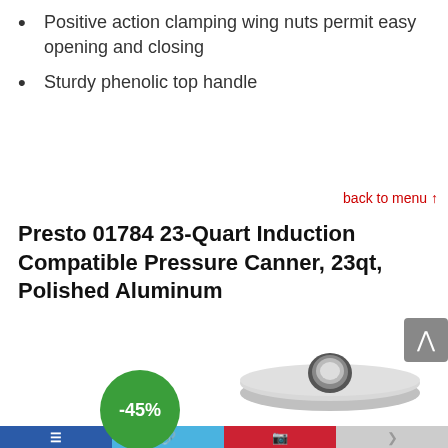Positive action clamping wing nuts permit easy opening and closing
Sturdy phenolic top handle
back to menu ↑
Presto 01784 23-Quart Induction Compatible Pressure Canner, 23qt, Polished Aluminum
[Figure (photo): Product image of pressure canner with -45% discount badge, partially visible at bottom of page]